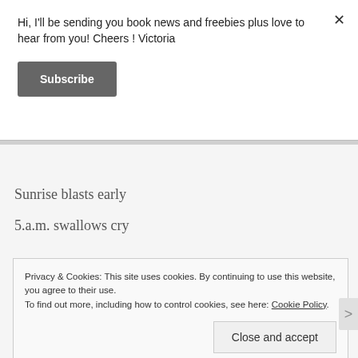Hi, I'll be sending you book news and freebies plus love to hear from you! Cheers ! Victoria
Subscribe
Sunrise blasts early
5.a.m. swallows cry
Privacy & Cookies: This site uses cookies. By continuing to use this website, you agree to their use.
To find out more, including how to control cookies, see here: Cookie Policy
Close and accept